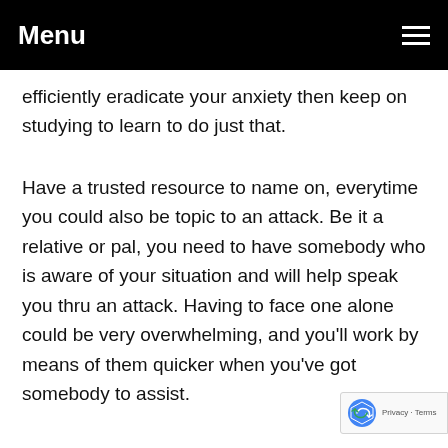Menu
efficiently eradicate your anxiety then keep on studying to learn to do just that.
Have a trusted resource to name on, everytime you could also be topic to an attack. Be it a relative or pal, you need to have somebody who is aware of your situation and will help speak you thru an attack. Having to face one alone could be very overwhelming, and you'll work by means of them quicker when you've got somebody to assist.
If you are one of many millions of sufferers of persistent anxiety, then you definitely need to go to your doctor. There are many treatment options at the moment available to help treat